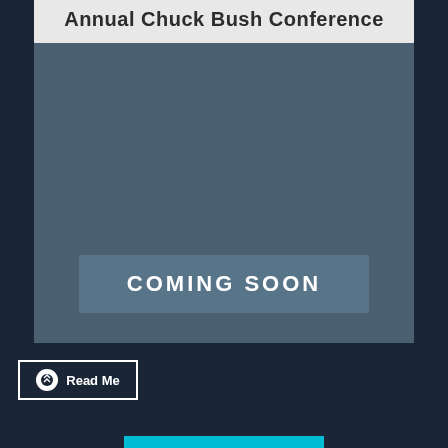Annual Chuck Bush Conference
[Figure (illustration): A dark teal/slate colored image placeholder with a 'COMING SOON' text overlay in a semi-transparent box]
Read Me
[Figure (other): A cyan/turquoise horizontal bar at the bottom]